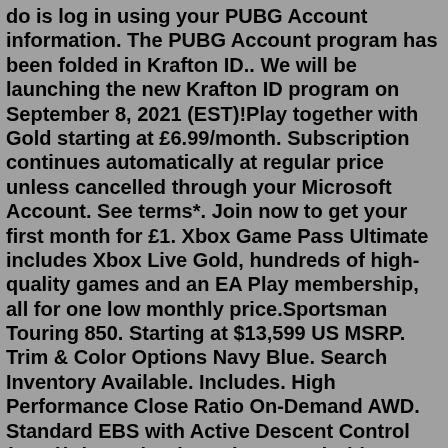do is log in using your PUBG Account information. The PUBG Account program has been folded in Krafton ID.. We will be launching the new Krafton ID program on September 8, 2021 (EST)!Play together with Gold starting at £6.99/month. Subscription continues automatically at regular price unless cancelled through your Microsoft Account. See terms*. Join now to get your first month for £1. Xbox Game Pass Ultimate includes Xbox Live Gold, hundreds of high-quality games and an EA Play membership, all for one low monthly price.Sportsman Touring 850. Starting at $13,599 US MSRP. Trim & Color Options Navy Blue. Search Inventory Available. Includes. High Performance Close Ratio On-Demand AWD. Standard EBS with Active Descent Control (ADC)iPhone, iPad, Apple TV, Android & others. Upload, download, view, and organize your files with ease and simplicity using MediaFire for Android, BlackBerry, Windows, iPhone, or iPad. Whether it's your music collection, home videos, your resume, or your important work docs, have them in your pocket